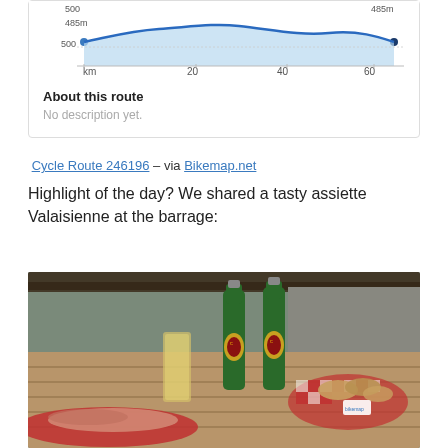[Figure (continuous-plot): Elevation profile chart showing route from ~485m start to ~485m end, with 500m baseline, x-axis showing km 0, 20, 40, 60]
About this route
No description yet.
Cycle Route 246196 – via Bikemap.net
Highlight of the day? We shared a tasty assiette Valaisienne at the barrage:
[Figure (photo): Photo of a wooden outdoor table with two green Cardinal beer bottles, a glass of beer, a basket of bread covered in red checkered cloth, and charcuterie/cold cuts on a red plate]